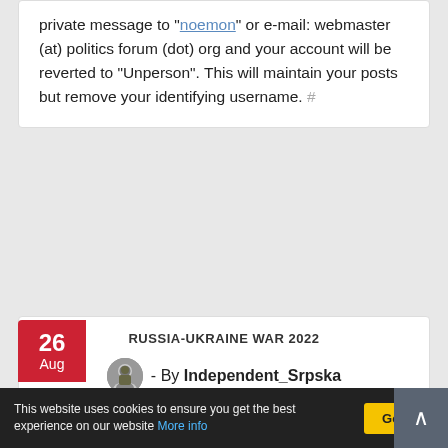private message to "noemon" or e-mail: webmaster (at) politics forum (dot) org and your account will be reverted to "Unperson". This will maintain your posts but remove your identifying username. #
RUSSIA-UKRAINE WAR 2022
- By Independent_Srpska
I had the opposite opinion... that USA will be the[…]
READ MORE
This website uses cookies to ensure you get the best experience on our website More info  Got it